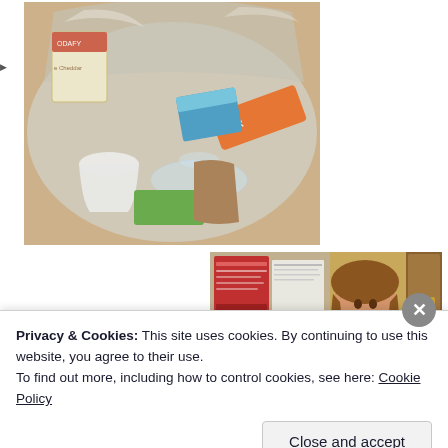[Figure (photo): A clear plastic garbage bag filled with trash including plastic bottles, cups, snack wrappers (Twix visible), cardboard packaging, and other recyclable and non-recyclable waste items.]
[Figure (photo): A smiling woman standing in front of a red and white poster/bulletin board, with a wooden door visible to the right.]
Privacy & Cookies: This site uses cookies. By continuing to use this website, you agree to their use.
To find out more, including how to control cookies, see here: Cookie Policy